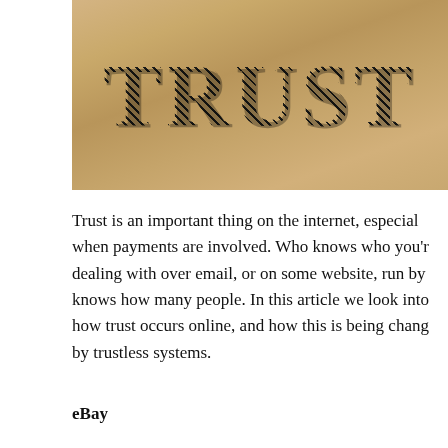[Figure (photo): Close-up photograph of the word TRUST printed in large hatched/striped black serif letters on a worn, beige/tan textured paper or surface.]
Trust is an important thing on the internet, especially when payments are involved. Who knows who you're dealing with over email, or on some website, run by knows how many people. In this article we look into how trust occurs online, and how this is being changed by trustless systems.
eBay